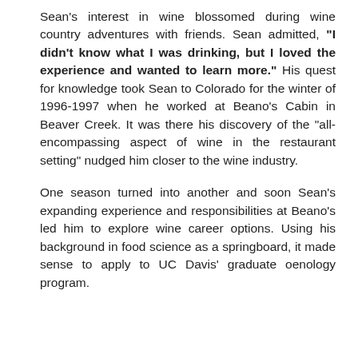Sean's interest in wine blossomed during wine country adventures with friends. Sean admitted, "I didn't know what I was drinking, but I loved the experience and wanted to learn more." His quest for knowledge took Sean to Colorado for the winter of 1996-1997 when he worked at Beano's Cabin in Beaver Creek. It was there his discovery of the "all-encompassing aspect of wine in the restaurant setting" nudged him closer to the wine industry.
One season turned into another and soon Sean's expanding experience and responsibilities at Beano's led him to explore wine career options. Using his background in food science as a springboard, it made sense to apply to UC Davis' graduate oenology program.